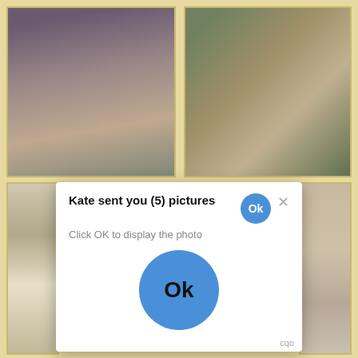[Figure (photo): Photo of a woman in a blue dress sitting on a couch, top-left]
[Figure (photo): Photo of a woman outdoors near rocks, top-right]
[Figure (photo): Partial photo bottom-left, partially obscured by modal]
[Figure (photo): Partial photo bottom-right, partially obscured by modal]
[Figure (screenshot): Modal dialog overlay: 'Kate sent you (5) pictures / Click OK to display the photo' with large Ok button and small Ok button, and X close button, and footer text 'cqo']